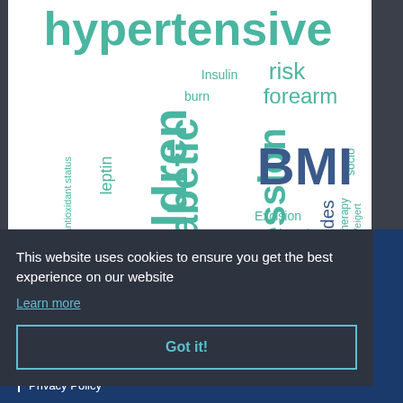[Figure (infographic): Word cloud containing medical/health-related terms in teal and dark blue colors. Largest words: 'hypertensive' (top, large teal), 'BMI' (large dark blue), 'Children' (large teal), 'Diabetic' (large teal), 'expression' (large teal). Other words include: Insulin, risk, forearm, socio, burn, leptin, Total antioxidant status, IgE, wall thickness, Stone, Excision, over, non, dimer, attitudes, monotherapy, Weigert, Seasonal, ECG]
This website uses cookies to ensure you get the best experience on our website
Learn more
Got it!
Privacy Policy